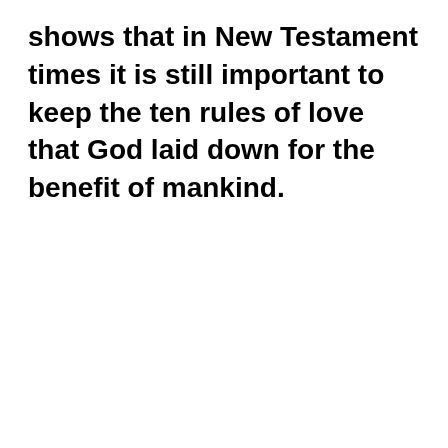shows that in New Testament times it is still important to keep the ten rules of love that God laid down for the benefit of mankind.